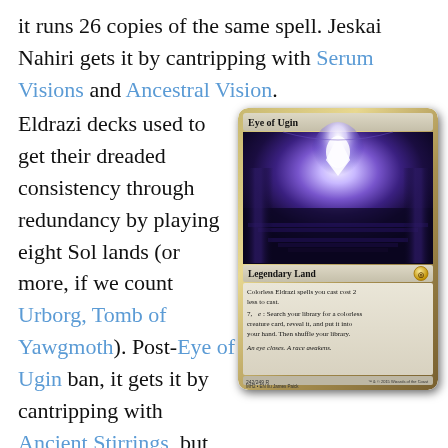it runs 26 copies of the same spell. Jeskai Nahiri gets it by cantripping with Serum Visions and Ancestral Vision.
Eldrazi decks used to get their dreaded consistency through redundancy by playing eight Sol lands (or more, if we count Urborg, Tomb of Yawgmoth). Post-Eye of Ugin ban, it gets it by cantripping with Ancient Stirrings, but also by splashing Noble Hierarch. Playing four mini-Dig Through Times isn't enough to ensure an
[Figure (illustration): Magic: The Gathering card 'Eye of Ugin' - Legendary Land from MH2 set. Card shows glowing purple/white crystalline eye structure above dark stone steps. Card text: Colorless Eldrazi spells you cast cost 2 less to cast. 7, T: Search your library for a colorless creature card, reveal it, and put it into your hand. Then shuffle your library. Flavor text: An eye closes. A race awakens. Card number 242/249 R.]